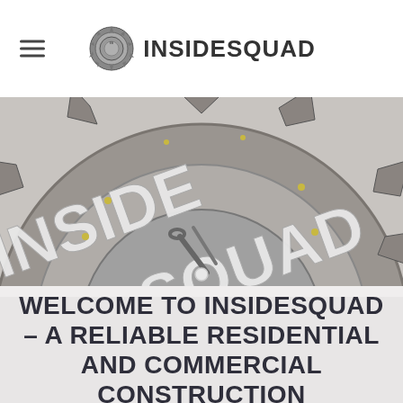[Figure (logo): InsideSquad logo with badge icon and bold text INSIDESQUAD]
[Figure (photo): Metal badge/sign with raised letters reading INSIDE SQUAD, in a circular gear-like shape with pointed edges, tools visible in center, gray metallic tones]
WELCOME TO INSIDESQUAD – A RELIABLE RESIDENTIAL AND COMMERCIAL CONSTRUCTION